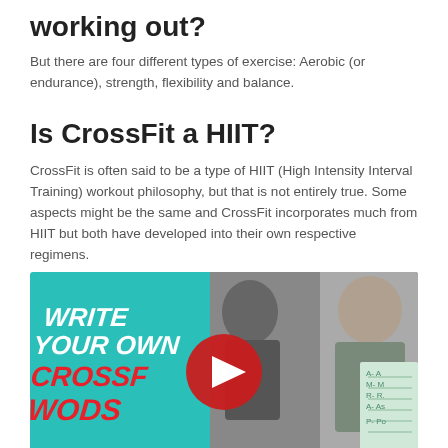working out?
But there are four different types of exercise: Aerobic (or endurance), strength, flexibility and balance.
Is CrossFit a HIIT?
CrossFit is often said to be a type of HIIT (High Intensity Interval Training) workout philosophy, but that is not entirely true. Some aspects might be the same and CrossFit incorporates much from HIIT but both have developed into their own respective regimens.
[Figure (screenshot): YouTube video thumbnail showing a CrossFit workout video titled 'Write Your Own CrossFit WODs' with a play button overlay, featuring two men and workout notes]